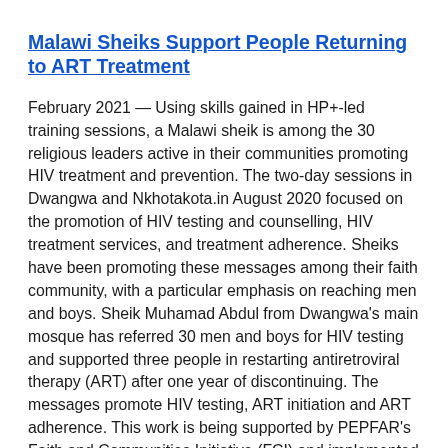Malawi Sheiks Support People Returning to ART Treatment
February 2021 — Using skills gained in HP+-led training sessions, a Malawi sheik is among the 30 religious leaders active in their communities promoting HIV treatment and prevention. The two-day sessions in Dwangwa and Nkhotakota.in August 2020 focused on the promotion of HIV testing and counselling, HIV treatment services, and treatment adherence. Sheiks have been promoting these messages among their faith community, with a particular emphasis on reaching men and boys. Sheik Muhamad Abdul from Dwangwa's main mosque has referred 30 men and boys for HIV testing and supported three people in restarting antiretroviral therapy (ART) after one year of discontinuing. The messages promote HIV testing, ART initiation and ART adherence. This work is being supported by PEPFAR's Faith and Communities Initiative (FCI) and implemented by HP+ with six local faith organizations in Malawi.